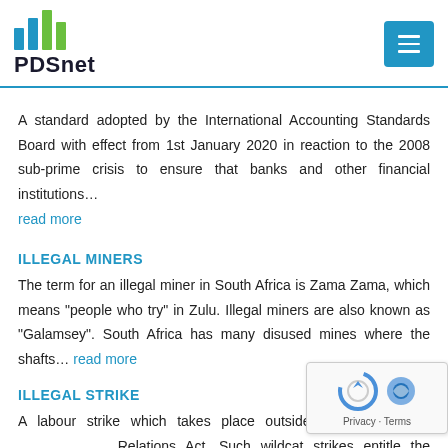PDSnet
A standard adopted by the International Accounting Standards Board with effect from 1st January 2020 in reaction to the 2008 sub-prime crisis to ensure that banks and other financial institutions... read more
ILLEGAL MINERS
The term for an illegal miner in South Africa is Zama Zama, which means "people who try" in Zulu. Illegal miners are also known as "Galamsey". South Africa has many disused mines where the shafts... read more
ILLEGAL STRIKE
A labour strike which takes place outside the ambit of the Relations Act. Such wildcat strikes entitle the employer to fire those